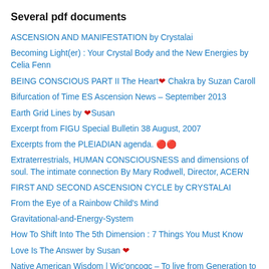Several pdf documents
ASCENSION AND MANIFESTATION by Crystalai
Becoming Light(er) : Your Crystal Body and the New Energies by Celia Fenn
BEING CONSCIOUS PART II The Heart❤ Chakra by Suzan Caroll
Bifurcation of Time ES Ascension News – September 2013
Earth Grid Lines by ❤Susan
Excerpt from FIGU Special Bulletin 38 August, 2007
Excerpts from the PLEIADIAN agenda. 🔴🔴
Extraterrestrials, HUMAN CONSCIOUSNESS and dimensions of soul. The intimate connection By Mary Rodwell, Director, ACERN
FIRST AND SECOND ASCENSION CYCLE by CRYSTALAI
From the Eye of a Rainbow Child's Mind
Gravitational-and-Energy-System
How To Shift Into The 5th Dimension : 7 Things You Must Know
Love Is The Answer by Susan ❤
Native American Wisdom | Wic'oncoqc – To live from Generation to Generation
Portals of Consciousness as Sexuality by Lisa